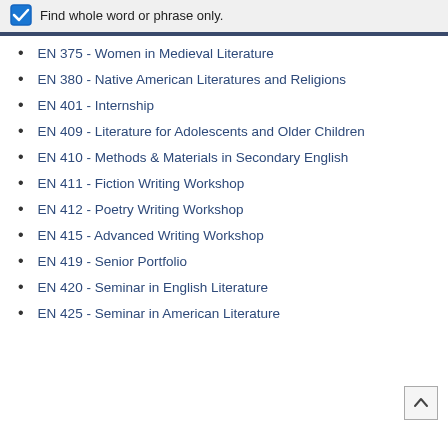Find whole word or phrase only.
EN 375 - Women in Medieval Literature
EN 380 - Native American Literatures and Religions
EN 401 - Internship
EN 409 - Literature for Adolescents and Older Children
EN 410 - Methods & Materials in Secondary English
EN 411 - Fiction Writing Workshop
EN 412 - Poetry Writing Workshop
EN 415 - Advanced Writing Workshop
EN 419 - Senior Portfolio
EN 420 - Seminar in English Literature
EN 425 - Seminar in American Literature